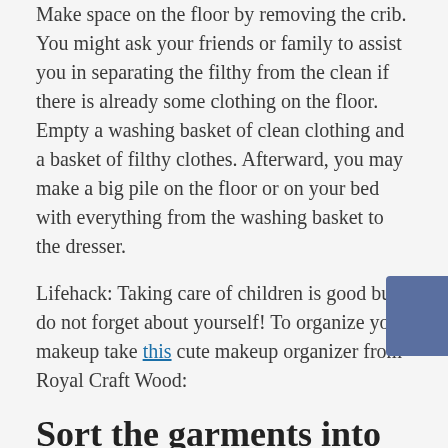Make space on the floor by removing the crib. You might ask your friends or family to assist you in separating the filthy from the clean if there is already some clothing on the floor. Empty a washing basket of clean clothing and a basket of filthy clothes. Afterward, you may make a big pile on the floor or on your bed with everything from the washing basket to the dresser.
Lifehack: Taking care of children is good but do not forget about yourself! To organize your makeup take this cute makeup organizer from Royal Craft Wood:
Sort the garments into different piles based on the kind
Begin separating the garments into different piles